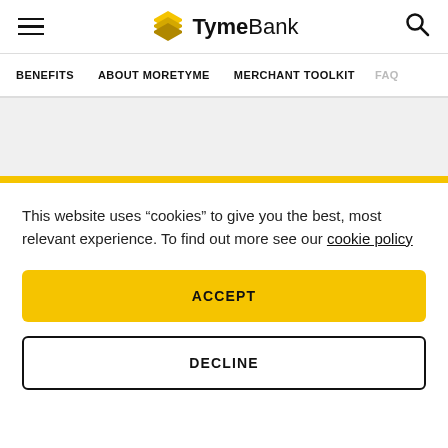TymeBank navigation header with hamburger menu, logo, and search icon
BENEFITS   ABOUT MORETYME   MERCHANT TOOLKIT   FAQ
This website uses “cookies” to give you the best, most relevant experience. To find out more see our cookie policy
ACCEPT
DECLINE